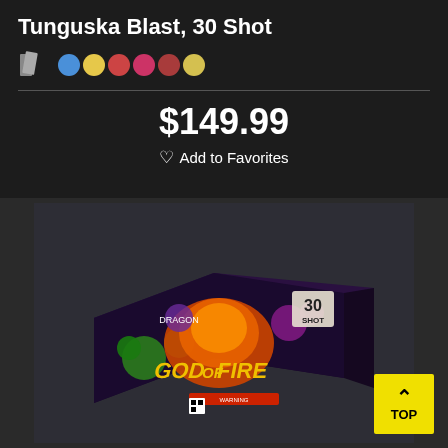Tunguska Blast, 30 Shot
$149.99
Add to Favorites
[Figure (photo): Product photo of 'God of Fire' 30-shot firework cake box with colorful dragon and fireworks artwork, showing '30 SHOT' label, on dark background]
TOP